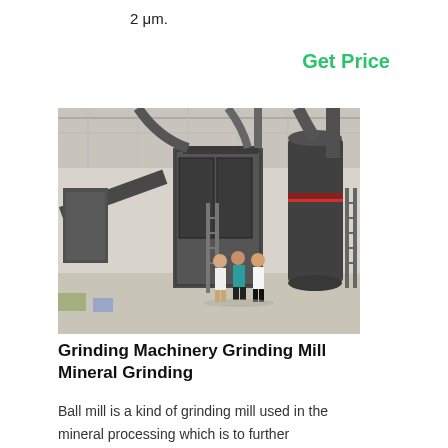2 μm.
Get Price
[Figure (photo): Industrial grinding machinery facility showing large dark-colored grinding mill equipment with pipes and ductwork. Three workers stand in front of a large enclosed machine in a warehouse/factory setting.]
Grinding Machinery Grinding Mill Mineral Grinding
Ball mill is a kind of grinding mill used in the mineral processing which is to further